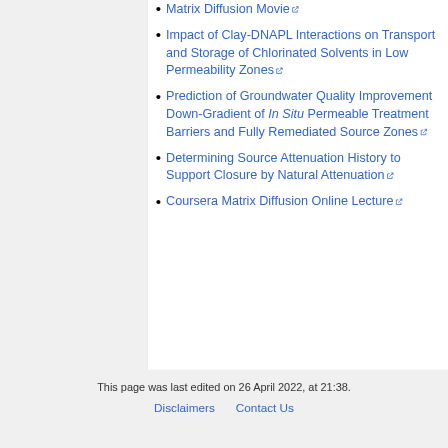Matrix Diffusion Movie [external link]
Impact of Clay-DNAPL Interactions on Transport and Storage of Chlorinated Solvents in Low Permeability Zones [external link]
Prediction of Groundwater Quality Improvement Down-Gradient of In Situ Permeable Treatment Barriers and Fully Remediated Source Zones [external link]
Determining Source Attenuation History to Support Closure by Natural Attenuation [external link]
Coursera Matrix Diffusion Online Lecture [external link]
This page was last edited on 26 April 2022, at 21:38.
Disclaimers · Contact Us · Powered by MediaWiki